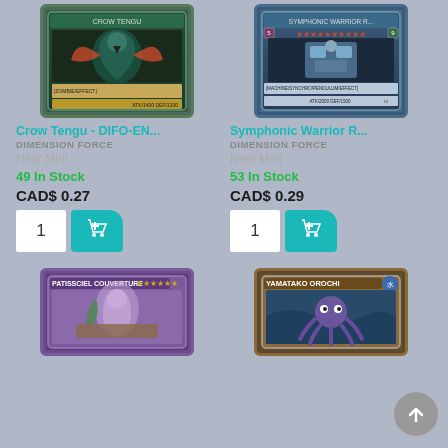[Figure (photo): Yu-Gi-Oh trading card: Crow Tengu, zombie/effect type card with teal border, creature illustration]
[Figure (photo): Yu-Gi-Oh trading card: Symphonic Warrior R..., machine/synchro/pendulum/effect type card with teal border]
Crow Tengu - DIFO-EN...
Symphonic Warrior R...
DIMENSION FORCE
DIMENSION FORCE
Near Mint
Near Mint
49 In Stock
53 In Stock
CAD$ 0.27
CAD$ 0.29
[Figure (photo): Yu-Gi-Oh trading card: Patissciel Couverture, purple-bordered card with anime girl illustration]
[Figure (photo): Yu-Gi-Oh trading card: Yamatako Orochi, water attribute card with octopus creature illustration]